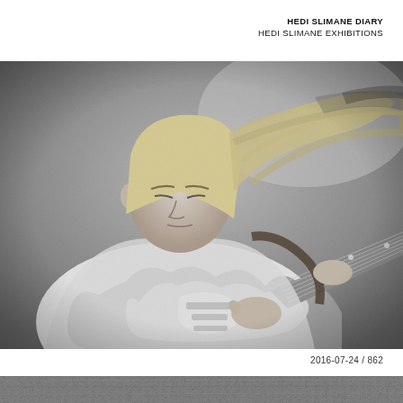HEDI SLIMANE DIARY
HEDI SLIMANE EXHIBITIONS
[Figure (photo): Black and white photograph of a young male musician with long blond hair in motion, wearing a white t-shirt and playing an electric guitar (Fender Telecaster style) with a guitar strap. He is looking downward. The photo has a grainy, high-contrast film aesthetic.]
2016-07-24 / 862